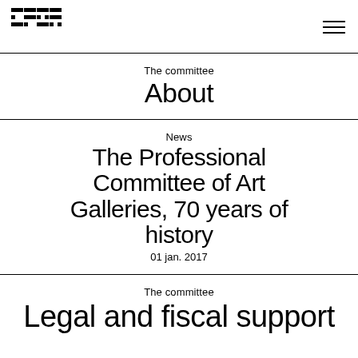[Figure (logo): CPGA logo — stylized block letters in black]
The committee
About
News
The Professional Committee of Art Galleries, 70 years of history
01 jan. 2017
The committee
Legal and fiscal support